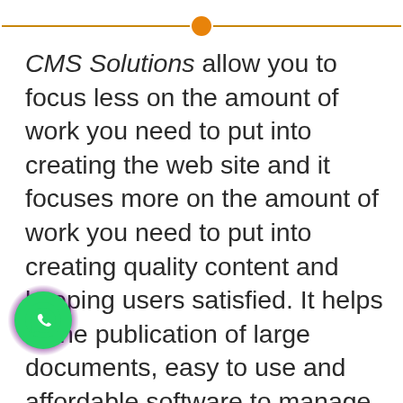[Figure (other): Horizontal divider line with orange circle in the center]
CMS Solutions allow you to focus less on the amount of work you need to put into creating the web site and it focuses more on the amount of work you need to put into creating quality content and keeping users satisfied. It helps in the publication of large documents, easy to use and affordable software to manage the content of your website.
In today’s era where e-business has grown content flow is more in demand. If you are able to revise the information regarding the products/s devices you offer online then the probability of losing your potential
[Figure (logo): WhatsApp button icon, green circle with white phone/chat icon, purple glow border]